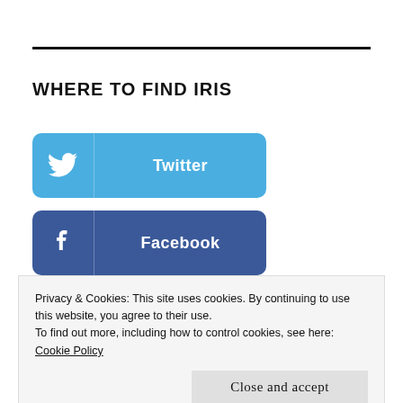WHERE TO FIND IRIS
[Figure (other): Twitter social media button with bird icon and text 'Twitter']
[Figure (other): Facebook social media button with 'f' icon and text 'Facebook']
[Figure (other): LinkedIn social media button with 'in' icon and text 'LinkedIn']
Privacy & Cookies: This site uses cookies. By continuing to use this website, you agree to their use.
To find out more, including how to control cookies, see here:
Cookie Policy
Close and accept